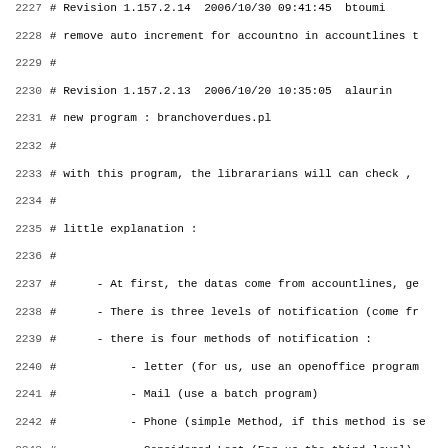Code comments showing revision history and explanation of branchoverdues.pl program, lines 2227-2258
2227 # Revision 1.157.2.14  2006/10/30 09:41:45  btoumi
2228 # remove auto increment for accountno in accountlines t
2229 #
2230 # Revision 1.157.2.13  2006/10/20 10:35:05  alaurin
2231 # new program : branchoverdues.pl
2232 #
2233 # with this program, the librararians will can check ,
2234 #
2235 # little explanation :
2236 #
2237 #      - At first, the datas come from accountlines, ge
2238 #      - There is three levels of notification (come fr
2239 #      - there is four methods of notification :
2240 #           - letter (for us, use an openoffice program
2241 #           - Mail (use a batch program)
2242 #           - Phone (simple Method, if this method is se
2243 #           - Considered Lost (For us the third level)
2244 #
2245 #      - At this time we have some parameters hardcoded
2246 #
2247 #      - the choice of methods is hardcoded :
2248 #           - for the first overduelevel : three methods
2249 #           -For the second overduelevel :only one metho
2250 #           - For the Third Overdue level : only one met
2251 #
2252 #
2253 # this program will be heavy tested next week ....
2254 #
2255 # Revision 1.157.2.12  2006/10/19 09:04:07  toins
2256 # itemtypes.itemtype is a primary key.
2257 #
2258 # Revision 1.157.2.11  2006/10/18 13:31:13  toins